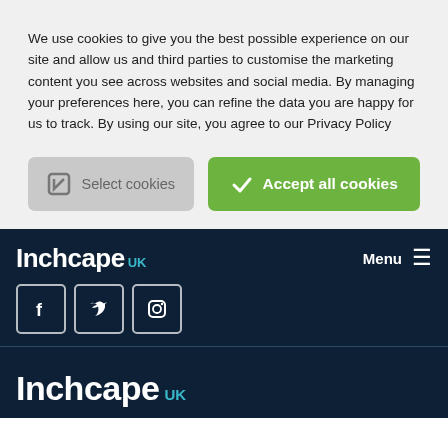We use cookies to give you the best possible experience on our site and allow us and third parties to customise the marketing content you see across websites and social media. By managing your preferences here, you can refine the data you are happy for us to track. By using our site, you agree to our Privacy Policy
[Figure (screenshot): Two buttons: 'Select cookies' (grey) and 'Accept all cookies' (green)]
[Figure (screenshot): Inchcape UK navigation bar with logo, Menu label, hamburger icon, and social media icons (Facebook, Twitter, Instagram)]
[Figure (logo): Inchcape UK logo in white and teal on dark navy background]